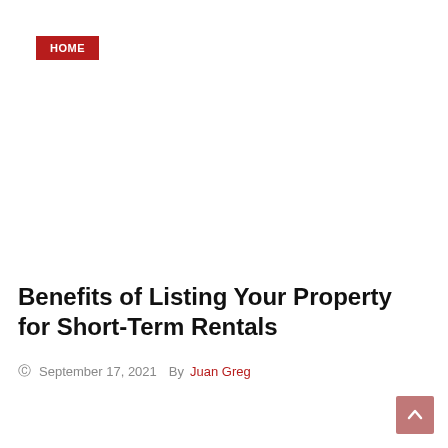HOME
Benefits of Listing Your Property for Short-Term Rentals
September 17, 2021   By Juan Greg
HOME